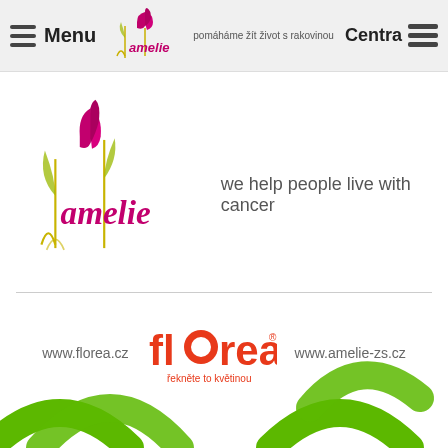Menu | amelie – pomáháme žít život s rakovinou | Centra
[Figure (logo): Amelie logo with tulip flower and tagline 'we help people live with cancer']
[Figure (logo): Florea logo with text 'florea – řekněte to květinou' and URLs www.florea.cz and www.amelie-zs.cz]
[Figure (illustration): Green curved WiFi-like arc shapes at the bottom of the page]